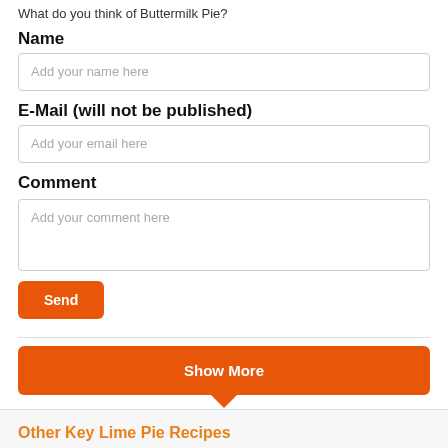What do you think of Buttermilk Pie?
Name
Add your name here
E-Mail (will not be published)
Add your email here
Comment
Add your comment here
Send
Show More
Other Key Lime Pie Recipes